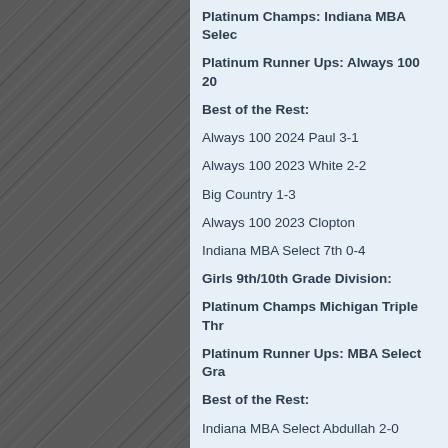[Figure (photo): Left half of page showing a dark wood-grain floor with diagonal plank pattern in dark gray/charcoal tones]
Platinum Champs: Indiana MBA Selec…
Platinum Runner Ups: Always 100 20…
Best of the Rest:
Always 100 2024 Paul 3-1
Always 100 2023 White 2-2
Big Country 1-3
Always 100 2023 Clopton
Indiana MBA Select 7th 0-4
Girls 9th/10th Grade Division:
Platinum Champs Michigan Triple Thr…
Platinum Runner Ups: MBA Select Gra…
Best of the Rest:
Indiana MBA Select Abdullah 2-0
Indiana MBA Select Compton 1-2…